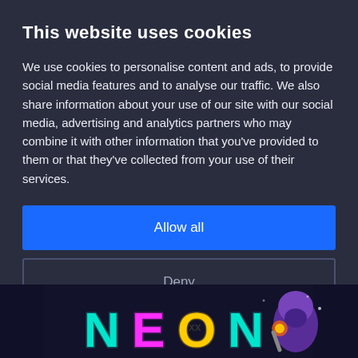This website uses cookies
We use cookies to personalise content and ads, to provide social media features and to analyse our traffic. We also share information about your use of our site with our social media, advertising and analytics partners who may combine it with other information that you've provided to them or that they've collected from your use of their services.
Allow all
Deny
Show details
[Figure (illustration): Neon-themed gaming banner with stylized 'NEON' text in colorful neon lights and a masked/hooded character holding a weapon with glowing effects]